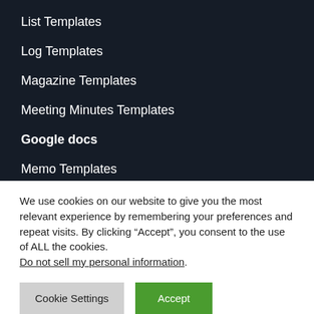List Templates
Log Templates
Magazine Templates
Meeting Minutes Templates
Google docs
Memo Templates
Menu Templates
We use cookies on our website to give you the most relevant experience by remembering your preferences and repeat visits. By clicking “Accept”, you consent to the use of ALL the cookies.
Do not sell my personal information.
Cookie Settings  Accept